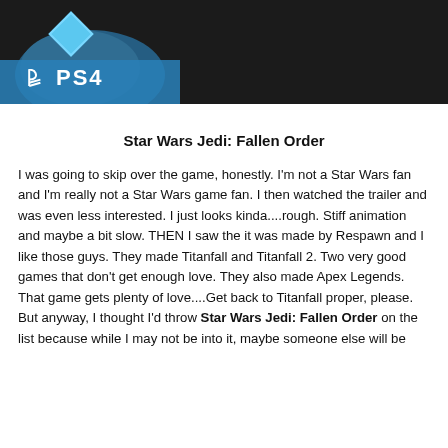[Figure (photo): Screenshot showing PS4 logo/branding with blue controller and dark background, person's hands visible]
Star Wars Jedi: Fallen Order
I was going to skip over the game, honestly. I'm not a Star Wars fan and I'm really not a Star Wars game fan. I then watched the trailer and was even less interested. I just looks kinda....rough. Stiff animation and maybe a bit slow. THEN I saw the it was made by Respawn and I like those guys. They made Titanfall and Titanfall 2. Two very good games that don't get enough love. They also made Apex Legends. That game gets plenty of love....Get back to Titanfall proper, please. But anyway, I thought I'd throw Star Wars Jedi: Fallen Order on the list because while I may not be into it, maybe someone else will be